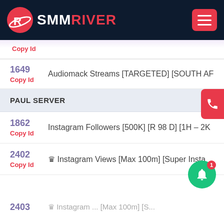SMMRIVER
Copy Id
| ID | Name |
| --- | --- |
| 1649
Copy Id | Audiomack Streams [TARGETED] [SOUTH AF... |
| 1862
Copy Id | Instagram Followers [500K] [R 98 D] [1H - 2K... |
| 2402
Copy Id | ♛ Instagram Views [Max 100m] [Super Insta... |
| 2403 | ... |
PAUL SERVER